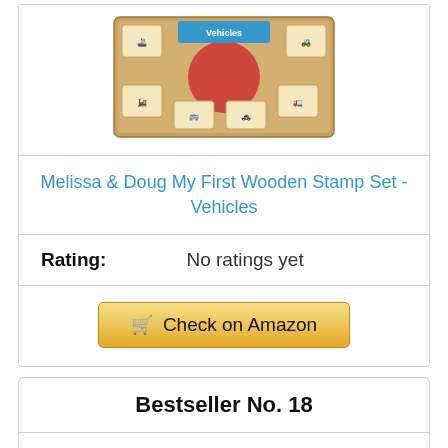[Figure (photo): Product photo of Melissa & Doug My First Wooden Stamp Set - Vehicles toy]
Melissa & Doug My First Wooden Stamp Set - Vehicles
Rating: No ratings yet
Check on Amazon
Bestseller No. 18
[Figure (photo): Product photo of a wooden stamp set - Personalized Name stamp set, partially visible]